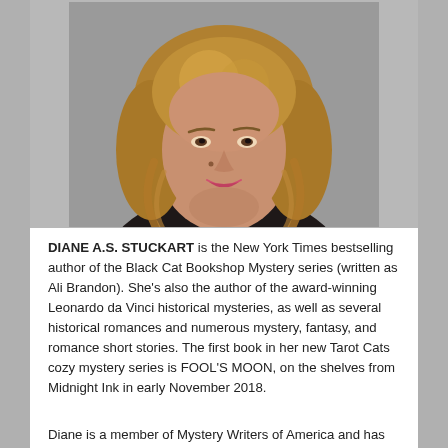[Figure (photo): Headshot portrait of a woman with medium-length layered blonde-brown hair, wearing a dark floral blouse, smiling slightly, photographed against a neutral gray background.]
DIANE A.S. STUCKART is the New York Times bestselling author of the Black Cat Bookshop Mystery series (written as Ali Brandon). She's also the author of the award-winning Leonardo da Vinci historical mysteries, as well as several historical romances and numerous mystery, fantasy, and romance short stories. The first book in her new Tarot Cats cozy mystery series is FOOL'S MOON, on the shelves from Midnight Ink in early November 2018.
Diane is a member of Mystery Writers of America and has